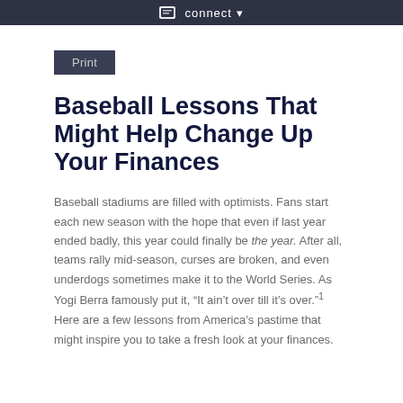connect
Print
Baseball Lessons That Might Help Change Up Your Finances
Baseball stadiums are filled with optimists. Fans start each new season with the hope that even if last year ended badly, this year could finally be the year. After all, teams rally mid-season, curses are broken, and even underdogs sometimes make it to the World Series. As Yogi Berra famously put it, “It ain’t over till it’s over.”¹ Here are a few lessons from America’s pastime that might inspire you to take a fresh look at your finances.